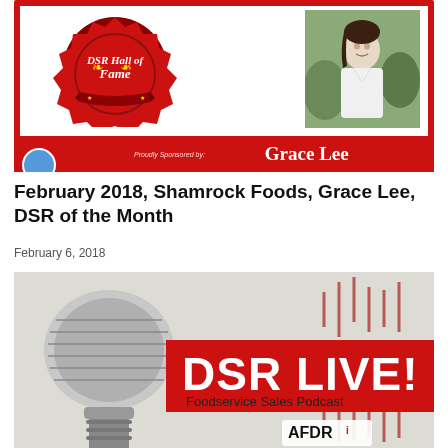[Figure (photo): DSR Hall of Fame banner image featuring a badge/logo on the left and a woman's photo on the right, with 'Grace Lee' displayed on a red bar at the bottom. Text 'Proudly Sponsored by:' also visible.]
February 2018, Shamrock Foods, Grace Lee, DSR of the Month
February 6, 2018
[Figure (photo): DSR LIVE! Foodservice Sales Podcast banner image featuring a close-up of a vintage microphone on the left, a red banner with 'DSR LIVE!' in large white text, 'Foodservice Sales Podcast' below it, and the AFDRI logo at the bottom right.]